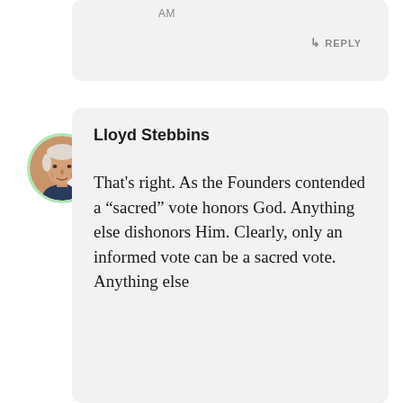AM
↳ REPLY
[Figure (photo): Circular avatar photo of Lloyd Stebbins, an older man with white/grey hair, wearing a suit, with a green ring border around the avatar]
Lloyd Stebbins
That's right. As the Founders contended a "sacred" vote honors God. Anything else dishonors Him. Clearly, only an informed vote can be a sacred vote. Anything else